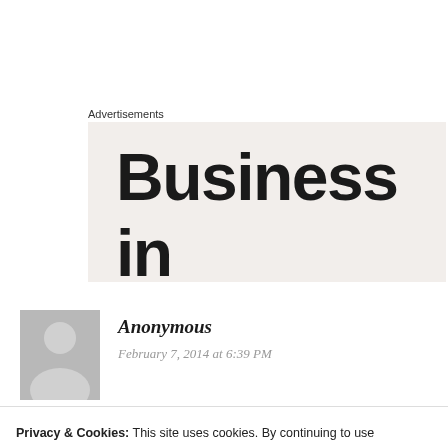Advertisements
[Figure (other): Advertisement banner with large bold text reading 'Business in the front' on a light beige/cream background]
Anonymous
February 7, 2014 at 6:39 PM
Privacy & Cookies: This site uses cookies. By continuing to use this website, you agree to their use.
To find out more, including how to control cookies, see here: Cookie Policy
Close and accept